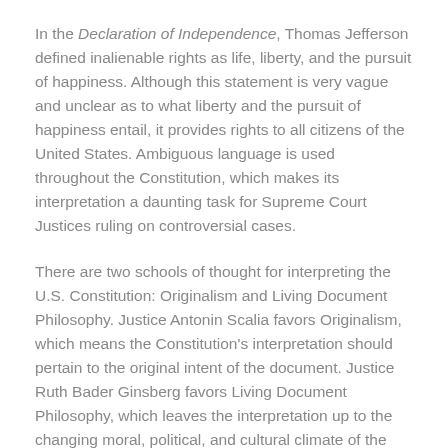In the Declaration of Independence, Thomas Jefferson defined inalienable rights as life, liberty, and the pursuit of happiness. Although this statement is very vague and unclear as to what liberty and the pursuit of happiness entail, it provides rights to all citizens of the United States. Ambiguous language is used throughout the Constitution, which makes its interpretation a daunting task for Supreme Court Justices ruling on controversial cases.
There are two schools of thought for interpreting the U.S. Constitution: Originalism and Living Document Philosophy. Justice Antonin Scalia favors Originalism, which means the Constitution's interpretation should pertain to the original intent of the document. Justice Ruth Bader Ginsberg favors Living Document Philosophy, which leaves the interpretation up to the changing moral, political, and cultural climate of the